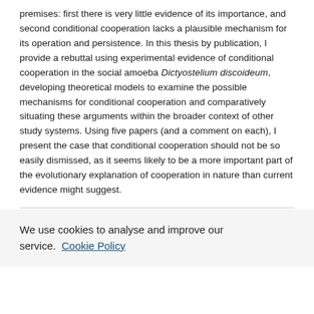premises: first there is very little evidence of its importance, and second conditional cooperation lacks a plausible mechanism for its operation and persistence. In this thesis by publication, I provide a rebuttal using experimental evidence of conditional cooperation in the social amoeba Dictyostelium discoideum, developing theoretical models to examine the possible mechanisms for conditional cooperation and comparatively situating these arguments within the broader context of other study systems. Using five papers (and a comment on each), I present the case that conditional cooperation should not be so easily dismissed, as it seems likely to be a more important part of the evolutionary explanation of cooperation in nature than current evidence might suggest.
Date of Award
19 Nov 2019
We use cookies to analyse and improve our service. Cookie Policy